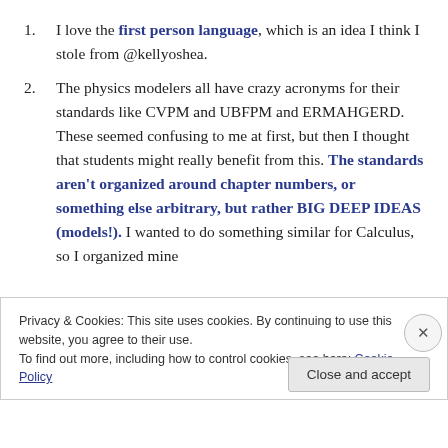I love the first person language, which is an idea I think I stole from @kellyoshea.
The physics modelers all have crazy acronyms for their standards like CVPM and UBFPM and ERMAHGERD. These seemed confusing to me at first, but then I thought that students might really benefit from this. The standards aren't organized around chapter numbers, or something else arbitrary, but rather BIG DEEP IDEAS (models!). I wanted to do something similar for Calculus, so I organized mine
Privacy & Cookies: This site uses cookies. By continuing to use this website, you agree to their use. To find out more, including how to control cookies, see here: Cookie Policy